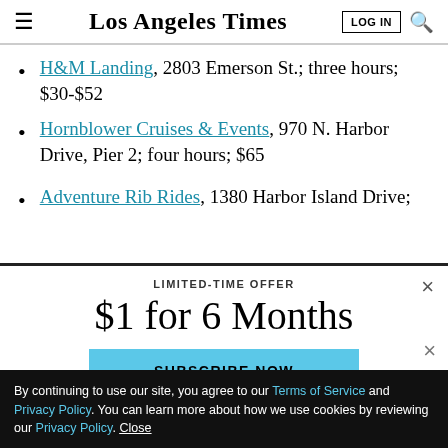Los Angeles Times
H&M Landing, 2803 Emerson St.; three hours; $30-$52
Hornblower Cruises & Events, 970 N. Harbor Drive, Pier 2; four hours; $65
Adventure Rib Rides, 1380 Harbor Island Drive;
LIMITED-TIME OFFER
$1 for 6 Months
SUBSCRIBE NOW
By continuing to use our site, you agree to our Terms of Service and Privacy Policy. You can learn more about how we use cookies by reviewing our Privacy Policy. Close